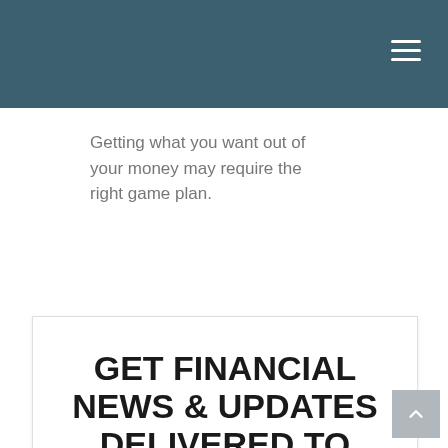Getting what you want out of your money may require the right game plan.
GET FINANCIAL NEWS & UPDATES DELIVERED TO YOUR